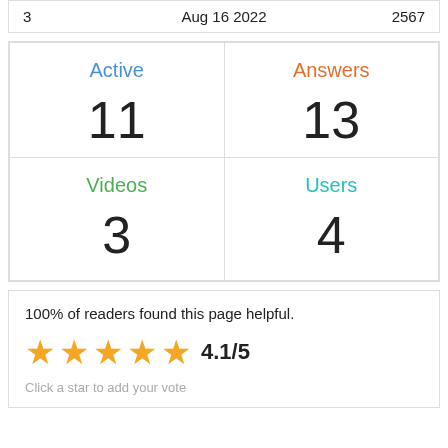| 3 | Aug 16 2022 | 2567 |
| Active | Answers |
| 11 | 13 |
| Videos | Users |
| 3 | 4 |
100% of readers found this page helpful.
★★★★★ 4.1/5
Click a star to add your vote